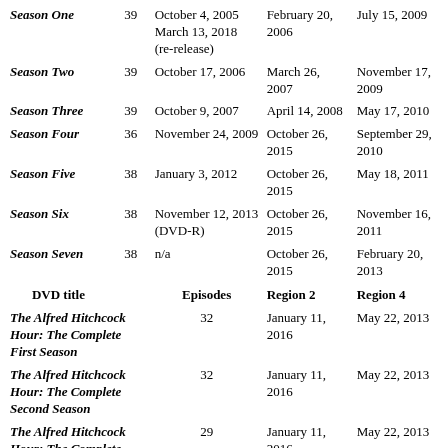| DVD title | Episodes | Region 1 | Region 2 | Region 4 |
| --- | --- | --- | --- | --- |
| Season One | 39 | October 4, 2005
March 13, 2018 (re-release) | February 20, 2006 | July 15, 2009 |
| Season Two | 39 | October 17, 2006 | March 26, 2007 | November 17, 2009 |
| Season Three | 39 | October 9, 2007 | April 14, 2008 | May 17, 2010 |
| Season Four | 36 | November 24, 2009 | October 26, 2015 | September 29, 2010 |
| Season Five | 38 | January 3, 2012 | October 26, 2015 | May 18, 2011 |
| Season Six | 38 | November 12, 2013 (DVD-R) | October 26, 2015 | November 16, 2011 |
| Season Seven | 38 | n/a | October 26, 2015 | February 20, 2013 |
| DVD title | Episodes |  | Region 2 | Region 4 |
| The Alfred Hitchcock Hour: The Complete First Season | 32 |  | January 11, 2016 | May 22, 2013 |
| The Alfred Hitchcock Hour: The Complete Second Season | 32 |  | January 11, 2016 | May 22, 2013 |
| The Alfred Hitchcock Hour: The Complete Third Season | 29 |  | January 11, 2016 | May 22, 2013 |